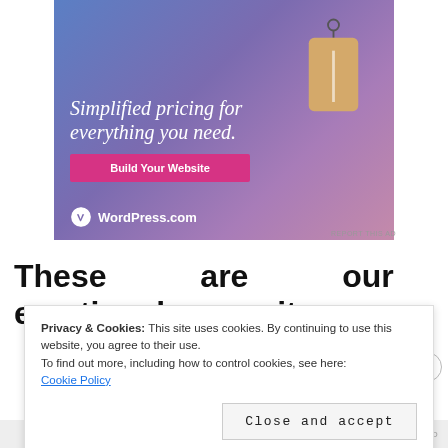[Figure (illustration): WordPress.com advertisement banner with gradient blue-purple background, showing a price tag graphic, italic text 'Simplified pricing for everything you need.', a pink 'Build Your Website' button, and the WordPress.com logo at the bottom.]
REPORT THIS AD
These are our emotional security
Privacy & Cookies: This site uses cookies. By continuing to use this website, you agree to their use.
To find out more, including how to control cookies, see here:
Cookie Policy
Close and accept